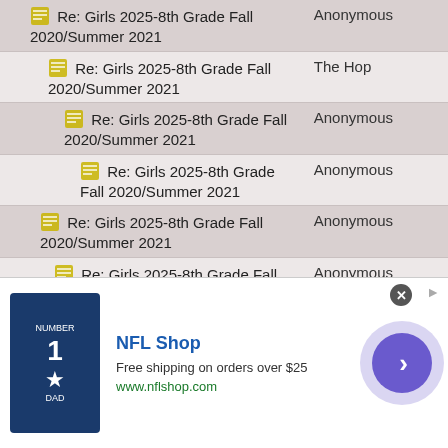| Subject | Author |
| --- | --- |
| Re: Girls 2025-8th Grade Fall 2020/Summer 2021 | Anonymous |
| Re: Girls 2025-8th Grade Fall 2020/Summer 2021 | The Hop |
| Re: Girls 2025-8th Grade Fall 2020/Summer 2021 | Anonymous |
| Re: Girls 2025-8th Grade Fall 2020/Summer 2021 | Anonymous |
| Re: Girls 2025-8th Grade Fall 2020/Summer 2021 | Anonymous |
| Re: Girls 2025-8th Grade Fall 2020/Summer 2021 | Anonymous |
| Re: Girls 2025-8th | Anonymous |
[Figure (photo): NFL Shop advertisement banner with Dallas Cowboys jersey, NFL Shop text, free shipping offer, and a purple forward arrow button]